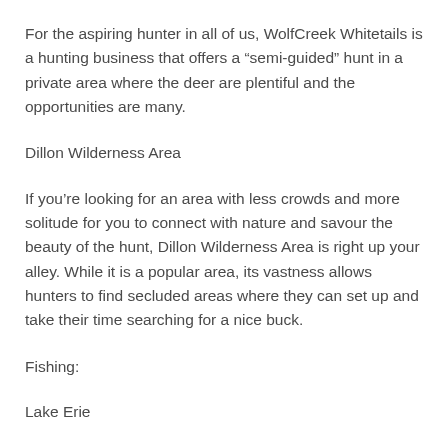For the aspiring hunter in all of us, WolfCreek Whitetails is a hunting business that offers a “semi-guided” hunt in a private area where the deer are plentiful and the opportunities are many.
Dillon Wilderness Area
If you’re looking for an area with less crowds and more solitude for you to connect with nature and savour the beauty of the hunt, Dillon Wilderness Area is right up your alley. While it is a popular area, its vastness allows hunters to find secluded areas where they can set up and take their time searching for a nice buck.
Fishing:
Lake Erie
...